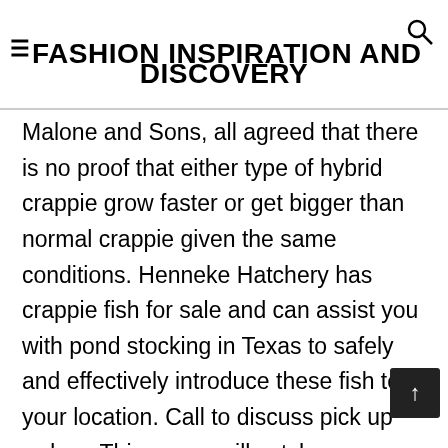≡FASHION INSPIRATION AND DISCOVERY
Malone and Sons, all agreed that there is no proof that either type of hybrid crappie grow faster or get bigger than normal crappie given the same conditions. Henneke Hatchery has crappie fish for sale and can assist you with pond stocking in Texas to safely and effectively introduce these fish to your location. Call to discuss pick up orders. This spoon will catch any species of fish and is most productive during the warmer month. Near 23233. The cargo bike will take your business to the front the pack. From a used Hyundai IONIQ to a used